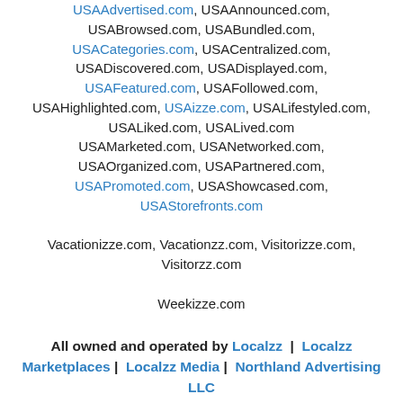USAAdvertised.com, USAAnnounced.com, USABrowsed.com, USABundled.com, USACategories.com, USACentralized.com, USADiscovered.com, USADisplayed.com, USAFeatured.com, USAFollowed.com, USAHighlighted.com, USAizze.com, USALifestyled.com, USALiked.com, USALived.com USAMarketed.com, USANetworked.com, USAOrganized.com, USAPartnered.com, USAPromoted.com, USAShowcased.com, USAStorefronts.com
Vacationizze.com, Vacationzz.com, Visitorizze.com, Visitorzz.com
Weekizze.com
All owned and operated by Localzz | Localzz Marketplaces | Localzz Media | Northland Advertising LLC